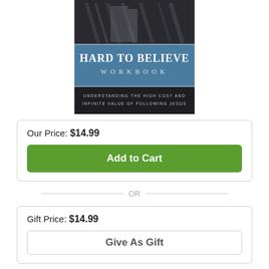[Figure (illustration): Book cover of 'Hard to Believe Workbook: Understanding the High Cost and Infinite Value of Following Jesus'. Top half shows a dark moody photo of a wooden cross or log. Middle section has a blue band with title 'HARD TO BELIEVE WORKBOOK' in white serif text. Bottom section is dark with subtitle text 'UNDERSTANDING THE HIGH COST AND INFINITE VALUE OF FOLLOWING JESUS' in small white spaced caps.]
Our Price: $14.99
Add to Cart
OR
Gift Price: $14.99
Give As Gift